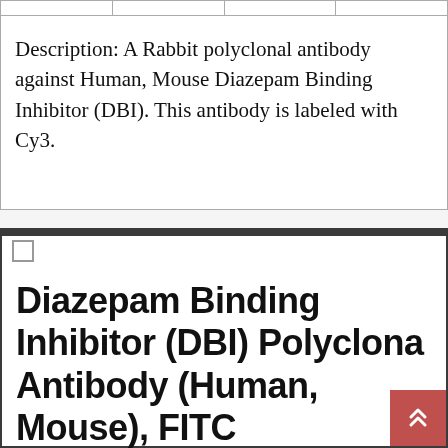|  |  |  |  |
| --- | --- | --- | --- |
| Description: A Rabbit polyclonal antibody against Human, Mouse Diazepam Binding Inhibitor (DBI). This antibody is labeled with Cy3. |  |  |  |
Diazepam Binding Inhibitor (DBI) Polyclonal Antibody (Human, Mouse), FITC